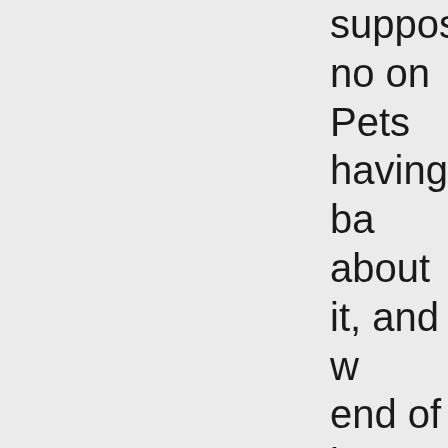suppose no on Pets having ba about it, and w end of it. My first pet was people, they th like a Holly.  So Although while should be calle Almost all of m called Mary wh photos of her a